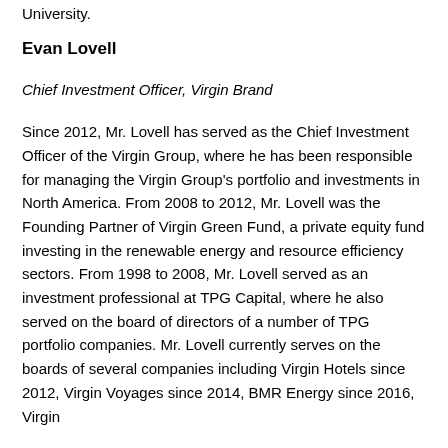University.
Evan Lovell
Chief Investment Officer, Virgin Brand
Since 2012, Mr. Lovell has served as the Chief Investment Officer of the Virgin Group, where he has been responsible for managing the Virgin Group's portfolio and investments in North America. From 2008 to 2012, Mr. Lovell was the Founding Partner of Virgin Green Fund, a private equity fund investing in the renewable energy and resource efficiency sectors. From 1998 to 2008, Mr. Lovell served as an investment professional at TPG Capital, where he also served on the board of directors of a number of TPG portfolio companies. Mr. Lovell currently serves on the boards of several companies including Virgin Hotels since 2012, Virgin Voyages since 2014, BMR Energy since 2016, Virgin